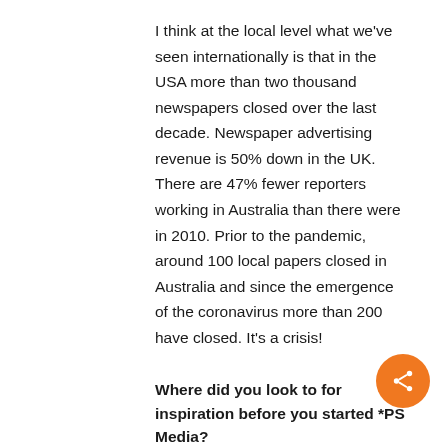I think at the local level what we've seen internationally is that in the USA more than two thousand newspapers closed over the last decade. Newspaper advertising revenue is 50% down in the UK. There are 47% fewer reporters working in Australia than there were in 2010. Prior to the pandemic, around 100 local papers closed in Australia and since the emergence of the coronavirus more than 200 have closed. It's a crisis!
Where did you look to for inspiration before you started *PS Media?